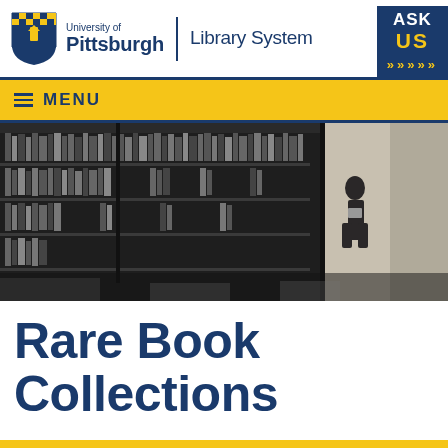[Figure (logo): University of Pittsburgh Library System logo with shield and text]
University of Pittsburgh | Library System
[Figure (screenshot): ASK US button/widget in dark blue with gold text and arrows]
[Figure (screenshot): Yellow MENU navigation bar with hamburger icon]
[Figure (photo): Black and white photograph of a woman standing in a library among tall bookshelves, reading a book]
Rare Book Collections